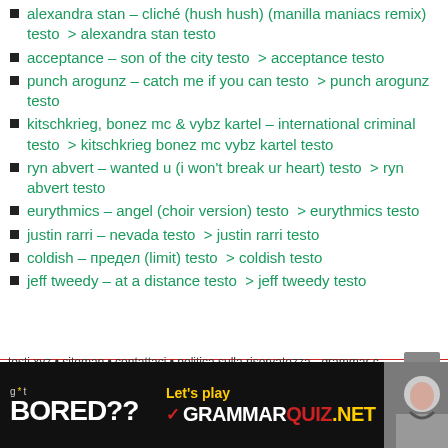alexandra stan – cliché (hush hush) (manilla maniacs remix) testo  > alexandra stan testo
acceptance – son of the city testo  > acceptance testo
punch arogunz – catch me if you can testo  > punch arogunz testo
kitschkrieg, bonez mc & vybz kartel – international criminal testo  > kitschkrieg bonez mc vybz kartel testo
ryn abvert – wanted u (i won't break ur heart) testo  > ryn abvert testo
eurythmics – angel (choir version) testo  > eurythmics testo
justin rarri – nevada testo  > justin rarri testo
coldish – предел (limit) testo  > coldish testo
jeff tweedy – at a distance testo  > jeff tweedy testo
testi.xyz • sitemap • contattaci • politica sulla riservatezza - grammar c khalimah.com
[Figure (infographic): Advertisement banner: 'got BORED??' on left in white/yellow text on black background, center shows 'Let's play GRAMMARQUIZ.NET' with checkmark, right shows a photo of a person.]